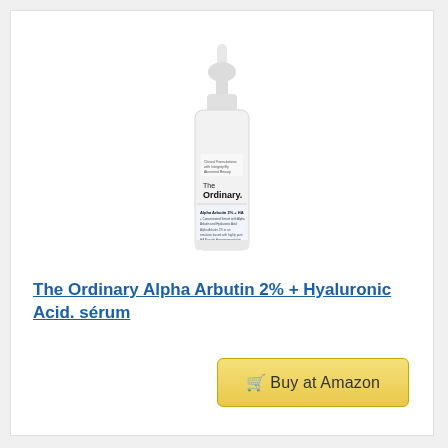[Figure (photo): The Ordinary Alpha Arbutin 2% + HA serum bottle with dropper cap, white frosted glass bottle with minimalist label showing brand name 'The Ordinary' and product name]
The Ordinary Alpha Arbutin 2% + Hyaluronic Acid. sérum
🛒 Buy at Amazon